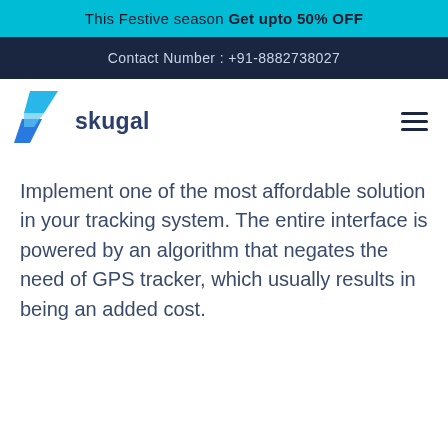This Festive season Get upto 50% OFF
Contact Number : +91-8882738027
[Figure (logo): Skugal logo with blue lightning bolt icon and text 'skugal']
Implement one of the most affordable solution in your tracking system. The entire interface is powered by an algorithm that negates the need of GPS tracker, which usually results in being an added cost.